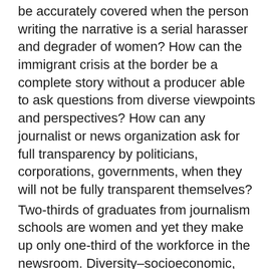be accurately covered when the person writing the narrative is a serial harasser and degrader of women? How can the immigrant crisis at the border be a complete story without a producer able to ask questions from diverse viewpoints and perspectives? How can any journalist or news organization ask for full transparency by politicians, corporations, governments, when they will not be fully transparent themselves?
Two-thirds of graduates from journalism schools are women and yet they make up only one-third of the workforce in the newsroom. Diversity–socioeconomic, ethnic, religious, sexual orientation, age, gender–in a newsroom means the newsroom represents the American population.
Whether the average citizen recognizes it or not, unhealthy and singularly represented newsrooms affect how news is delivered into their homes, silently shaping their own perceptions on critical issues facing society. The press cannot be relevant nor effective unless those in